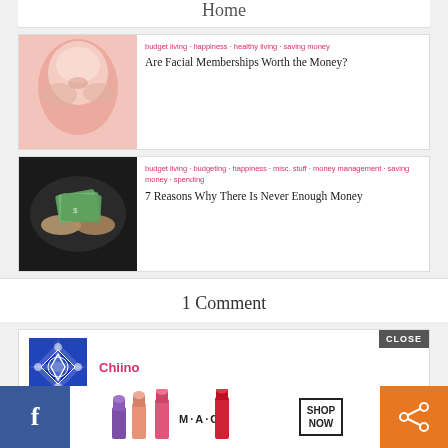Home
[Figure (photo): Woman receiving a facial treatment, lying down with eyes closed]
budget living · happiness · healthy living · saving money
Are Facial Memberships Worth the Money?
[Figure (photo): Hands counting dollar bills]
budget living · budgeting · happiness · misc. stuff · money management · saving money · spending
7 Reasons Why There Is Never Enough Money
1 Comment
[Figure (photo): Commenter avatar with blue geometric pattern]
Chiino
[Figure (infographic): MAC cosmetics advertisement banner with lipsticks and SHOP NOW button]
CLOSE